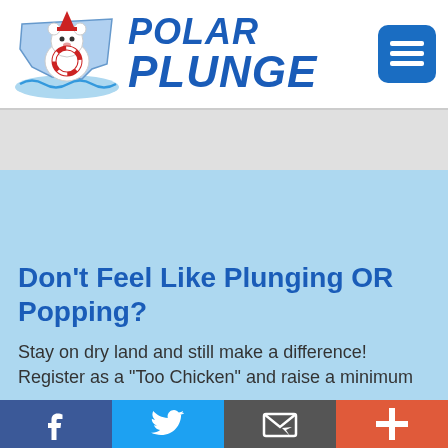[Figure (logo): Polar Plunge logo with polar bear mascot wearing a life preserver, with Pennsylvania state outline behind it, and bold italic POLAR PLUNGE text in blue]
[Figure (other): Grey banner placeholder area below header]
Don't Feel Like Plunging OR Popping?
Stay on dry land and still make a difference! Register as a "Too Chicken" and raise a minimum
Facebook | Twitter | Email | Plus (social share buttons)